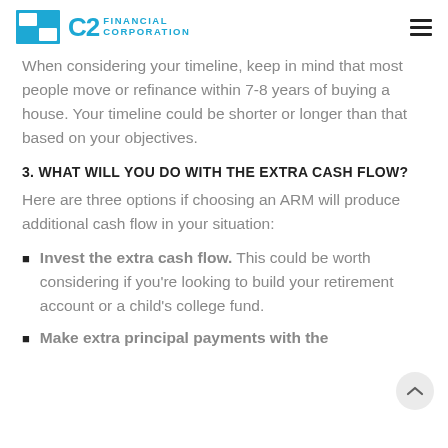C2 Financial Corporation
When considering your timeline, keep in mind that most people move or refinance within 7-8 years of buying a house. Your timeline could be shorter or longer than that based on your objectives.
3. WHAT WILL YOU DO WITH THE EXTRA CASH FLOW?
Here are three options if choosing an ARM will produce additional cash flow in your situation:
Invest the extra cash flow. This could be worth considering if you're looking to build your retirement account or a child's college fund.
Make extra principal payments with the